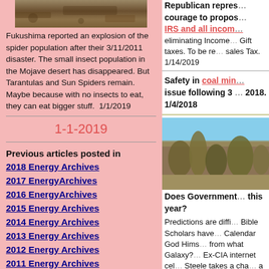[Figure (photo): Photo of ground/rock surface, appears brownish/sandy texture]
Fukushima reported an explosion of the spider population after their 3/11/2011 disaster. The small insect population in the Mojave desert has disappeared. But Tarantulas and Sun Spiders remain. Maybe because with no insects to eat, they can eat bigger stuff.  1/1/2019
1-1-2019
Previous articles posted in
2018 Energy Archives
2017 EnergyArchives
2016 EnergyArchives
2015 Energy Archives
2014 Energy Archives
2013 Energy Archives
2012 Energy Archives
2011 Energy Archives
Republican repres… courage to propos… IRS and all incom… eliminating Income… Gift taxes. To be re… sales Tax. 1/14/2019
Safety in coal min… issue following 3 … 2018. 1/4/2018
[Figure (photo): Outdoor landscape photo showing dry brush/scrub vegetation against blue sky]
Does Government… this year? Predictions are diffi… Bible Scholars have… Calendar God Hims… from what Galaxy?… Ex-CIA internet cel… Steele takes a cha… a fool or prophet wi…